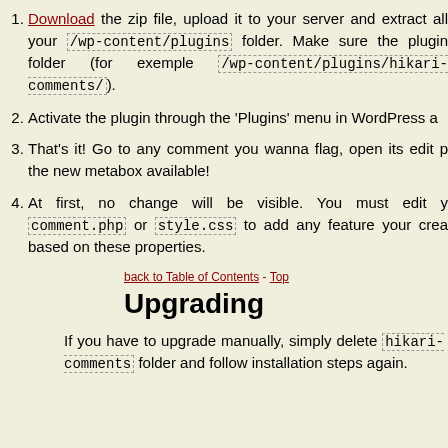Download the zip file, upload it to your server and extract all your /wp-content/plugins folder. Make sure the plugin folder (for exemple /wp-content/plugins/hikari-comments/).
Activate the plugin through the 'Plugins' menu in WordPress a
That's it! Go to any comment you wanna flag, open its edit page and check the new metabox available!
At first, no change will be visible. You must edit your comment.php or style.css to add any feature your create based on these properties.
back to Table of Contents - Top
Upgrading
If you have to upgrade manually, simply delete hikari-comments folder and follow installation steps again.